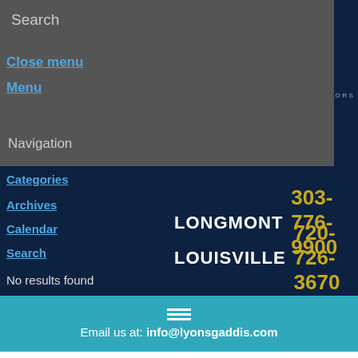Search
Close menu
Menu
Navigation
[Figure (logo): Lyons Gaddis Attorneys & Counselors logo with blue diagonal stripe icon]
LONGMONT 303-776-9900
LOUISVILLE 720-726-3670
Categories
Archives
Calendar
Search
No results found
[Figure (other): Hamburger menu icon (three white horizontal lines) on teal background]
Email us at: info@lyonsgaddis.com
enough liability insurance to cover the injured parties' damages? If not, your personal assets, including your ongoing income, may be at risk.
Continue reading